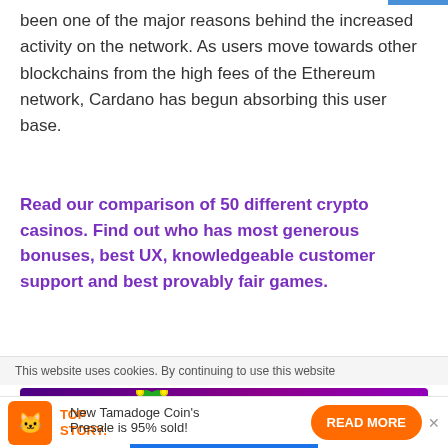been one of the major reasons behind the increased activity on the network. As users move towards other blockchains from the high fees of the Ethereum network, Cardano has begun absorbing this user base.
Read our comparison of 50 different crypto casinos. Find out who has most generous bonuses, best UX, knowledgeable customer support and best provably fair games.
[Figure (other): BitStarz casino advertisement banner with purple background, jester mascot, '5BTC +200 FREE SPINS' offer text in yellow, and 'CLAIM NOW' red button]
This website uses cookies. By continuing to use this website
TOP STORY: New Tamadoge Coin's Presale is 95% sold!